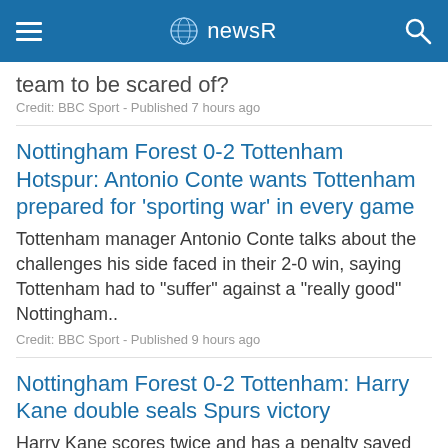newsR
team to be scared of?
Credit: BBC Sport - Published 7 hours ago
Nottingham Forest 0-2 Tottenham Hotspur: Antonio Conte wants Tottenham prepared for 'sporting war' in every game
Tottenham manager Antonio Conte talks about the challenges his side faced in their 2-0 win, saying Tottenham had to "suffer" against a "really good" Nottingham..
Credit: BBC Sport - Published 9 hours ago
Nottingham Forest 0-2 Tottenham: Harry Kane double seals Spurs victory
Harry Kane scores twice and has a penalty saved as Tottenham fight off a gritty Nottingham Forest